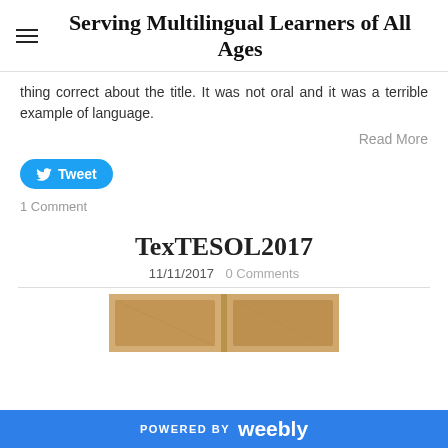Serving Multilingual Learners of All Ages
thing correct about the title. It was not oral and it was a terrible example of language.
Read More
Tweet
1 Comment
TexTESOL2017
11/11/2017   0 Comments
[Figure (photo): Wooden door or panel image, partially visible at bottom of page]
POWERED BY weebly